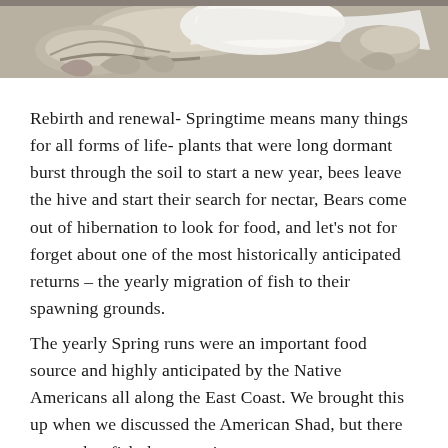[Figure (photo): Close-up photograph of an ornate silver decorative object with a white cloth or napkin, partially cropped at the top of the page.]
Rebirth and renewal- Springtime means many things for all forms of life- plants that were long dormant burst through the soil to start a new year, bees leave the hive and start their search for nectar, Bears come out of hibernation to look for food, and let’s not for forget about one of the most historically anticipated returns – the yearly migration of fish to their spawning grounds.
The yearly Spring runs were an important food source and highly anticipated by the Native Americans all along the East Coast. We brought this up when we discussed the American Shad, but there were other fish that were important too.